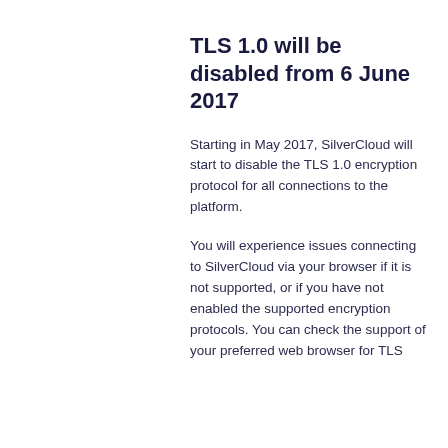TLS 1.0 will be disabled from 6 June 2017
Starting in May 2017, SilverCloud will start to disable the TLS 1.0 encryption protocol for all connections to the platform.
You will experience issues connecting to SilverCloud via your browser if it is not supported, or if you have not enabled the supported encryption protocols. You can check the support of your preferred web browser for TLS